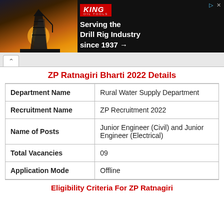[Figure (photo): Advertisement banner for King Oil Tools: 'Serving the Drill Rig Industry since 1937 →' with oil rig image on dark background]
ZP Ratnagiri Bharti 2022 Details
| Department Name | Rural Water Supply Department |
| Recruitment Name | ZP Recruitment 2022 |
| Name of Posts | Junior Engineer (Civil) and Junior Engineer (Electrical) |
| Total Vacancies | 09 |
| Application Mode | Offline |
Eligibility Criteria For ZP Ratnagiri